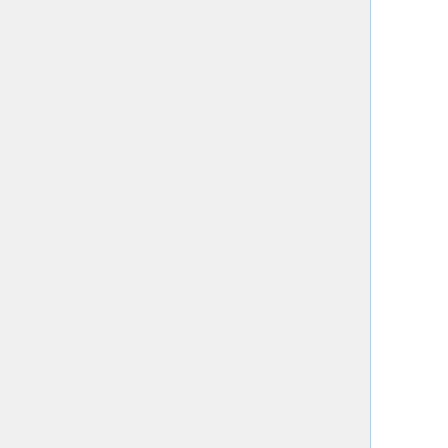final report: "PEER (Publishing and the Ecology of European Research), supported by the EC eContentplus programme, has been investigating the potential effects of the large-scale, systematic depositing of authors' final peer-reviewed manuscripts (so called Green Open Access or stage-two research output) on reader access, author visibility, and journal viability, as well as on the broader ecology of European research. The project ran from 1 September 2008 – 31 May 2012...." As summarized by Norbert Lossau, Scientific Coordinator of OpenAIRE and member of the PEER Executive Committee, "the economic